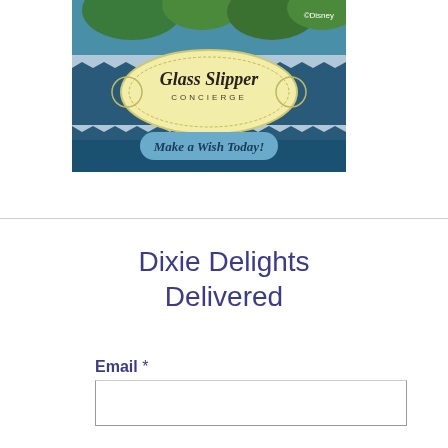[Figure (illustration): Glass Slipper Concierge advertisement banner with ©Disney watermark, decorative ornate yellow label reading 'Glass Slipper CONCIERGE', blue button saying 'Make a Wish Today!', and tropical resort background.]
Dixie Delights Delivered
Email *